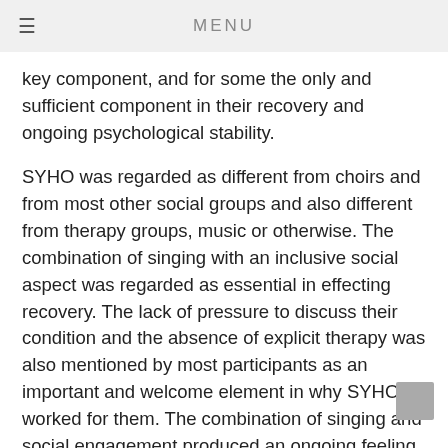≡  MENU
key component, and for some the only and sufficient component in their recovery and ongoing psychological stability.
SYHO was regarded as different from choirs and from most other social groups and also different from therapy groups, music or otherwise. The combination of singing with an inclusive social aspect was regarded as essential in effecting recovery. The lack of pressure to discuss their condition and the absence of explicit therapy was also mentioned by most participants as an important and welcome element in why SYHO worked for them. The combination of singing and social engagement produced an ongoing feeling of belonging and well-being. Attendance provided them with structure, support and contact that improved functioning and mood.
We conclude that the SYHO model offers a low-